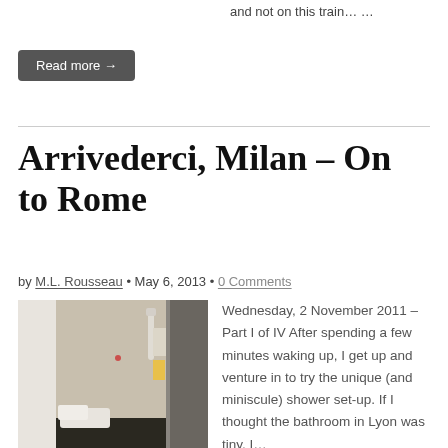and not on this train… …
Read more →
Arrivederci, Milan – On to Rome
by M.L. Rousseau • May 6, 2013 • 0 Comments
[Figure (photo): Small bathroom/shower in a hotel or train cabin]
Wednesday, 2 November 2011 – Part I of IV After spending a few minutes waking up, I get up and venture in to try the unique (and miniscule) shower set-up.  If I thought the bathroom in Lyon was tiny, I…